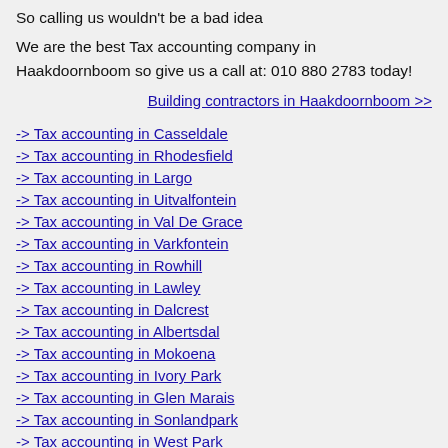So calling us wouldn't be a bad idea
We are the best Tax accounting company in Haakdoornboom so give us a call at: 010 880 2783 today!
Building contractors in Haakdoornboom >>
-> Tax accounting in Casseldale
-> Tax accounting in Rhodesfield
-> Tax accounting in Largo
-> Tax accounting in Uitvalfontein
-> Tax accounting in Val De Grace
-> Tax accounting in Varkfontein
-> Tax accounting in Rowhill
-> Tax accounting in Lawley
-> Tax accounting in Dalcrest
-> Tax accounting in Albertsdal
-> Tax accounting in Mokoena
-> Tax accounting in Ivory Park
-> Tax accounting in Glen Marais
-> Tax accounting in Sonlandpark
-> Tax accounting in West Park
-> Tax accounting in South Hills
-> Tax accounting in Deerness
-> Tax accounting in Rynpark
-> Tax accounting in Cottesloe
-> Tax accounting in Soulville